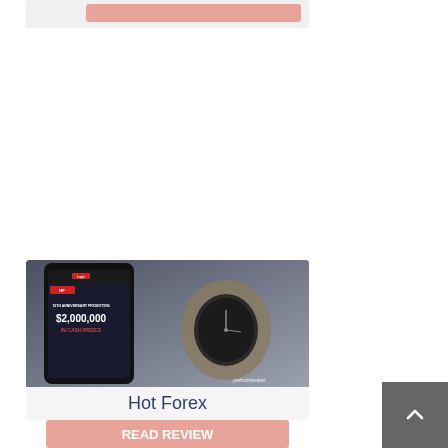[Figure (screenshot): Top partial broker card showing a salmon/pink Read Review button on a light gray card background]
[Figure (photo): Hot Forex broker card showing a smartphone displaying '$2,000,000 IN CASH PRIZES' promotion with a watch in background, labeled whichbroker]
Hot Forex
[Figure (other): Salmon/pink Read Review button]
[Figure (other): Gray scroll-to-top button with upward chevron arrow in bottom right corner]